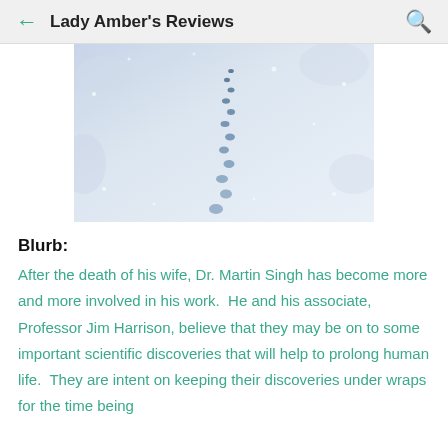Lady Amber's Reviews
[Figure (photo): Animal footprints in snow, viewed from above, leading diagonally into the distance with snow particles/bokeh visible]
Blurb:
After the death of his wife, Dr. Martin Singh has become more and more involved in his work.  He and his associate, Professor Jim Harrison, believe that they may be on to some important scientific discoveries that will help to prolong human life.  They are intent on keeping their discoveries under wraps for the time being